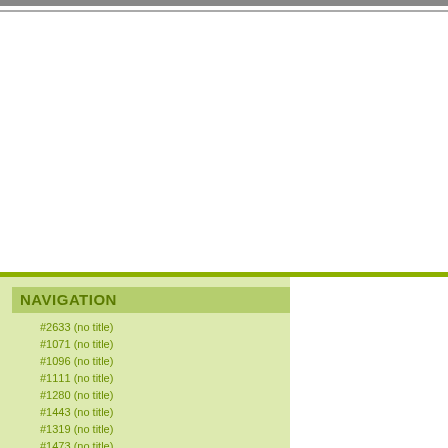NAVIGATION
#2633 (no title)
#1071 (no title)
#1096 (no title)
#1111 (no title)
#1280 (no title)
#1443 (no title)
#1319 (no title)
#1473 (no title)
#1608 (no title)